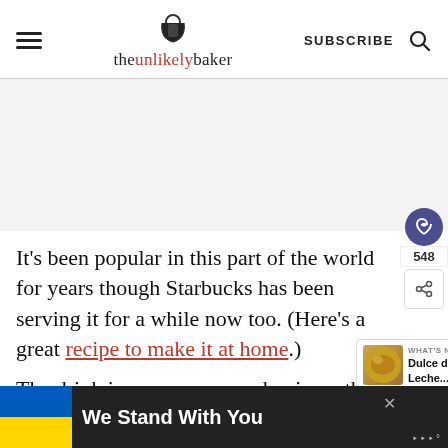theunlikelybaker — SUBSCRIBE
[Figure (screenshot): Advertisement placeholder area with light gray background and watermark icon]
It's been popular in this part of the world for years though Starbucks has been serving it for a while now too. (Here's a great recipe to make it at home.)
The drink is warm, cozy and unique: the
[Figure (screenshot): Ukraine solidarity banner: blue and yellow flag with text 'We Stand With You']